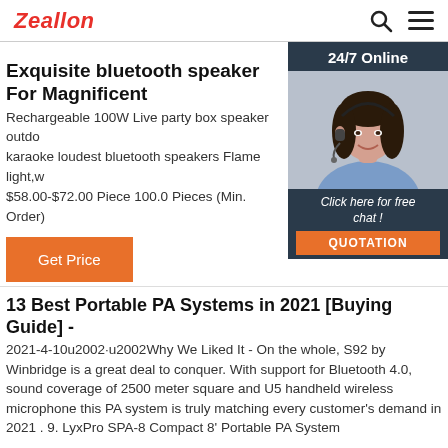Zeallon
Exquisite bluetooth speaker For Magnificent
Rechargeable 100W Live party box speaker outdo karaoke loudest bluetooth speakers Flame light,w $58.00-$72.00 Piece 100.0 Pieces (Min. Order)
[Figure (photo): Customer support representative with headset, 24/7 Online chat widget with orange QUOTATION button]
13 Best Portable PA Systems in 2021 [Buying Guide] -
2021-4-10u2002·u2002Why We Liked It - On the whole, S92 by Winbridge is a great deal to conquer. With support for Bluetooth 4.0, sound coverage of 2500 meter square and U5 handheld wireless microphone this PA system is truly matching every customer's demand in 2021 . 9. LyxPro SPA-8 Compact 8' Portable PA System